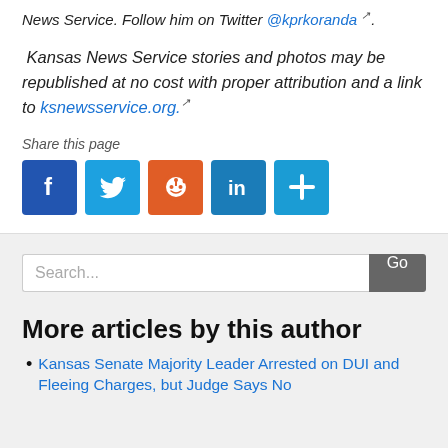News Service. Follow him on Twitter @kprkoranda.
Kansas News Service stories and photos may be republished at no cost with proper attribution and a link to ksnewsservice.org.
Share this page
[Figure (infographic): Social sharing buttons: Facebook (blue), Twitter (blue), Reddit (orange-red), LinkedIn (blue), More/plus (blue)]
Search...
More articles by this author
Kansas Senate Majority Leader Arrested on DUI and Fleeing Charges, but Judge Says No